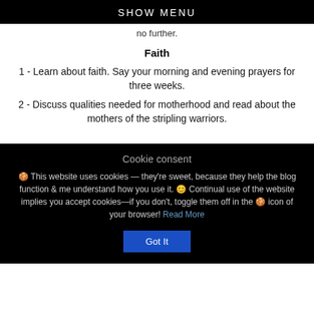SHOW MENU
no further.
Faith
1 - Learn about faith. Say your morning and evening prayers for three weeks.
2 - Discuss qualities needed for motherhood and read about the mothers of the stripling warriors.
[partially visible/cut-off text]
Cookie consent
🍪 This website uses cookies — they're sweet, because they help the blog function & me understand how you use it. 😊 Continual use of the website implies you accept cookies—if you don't, toggle them off in the 🍪 icon of your browser! Read More
Got It